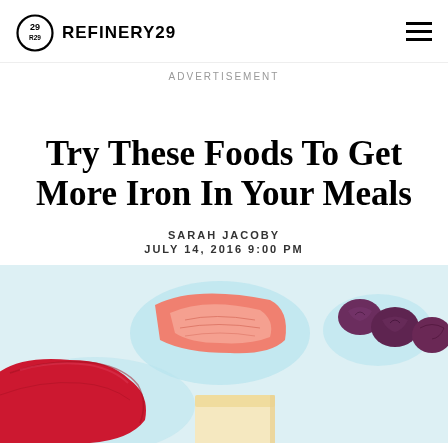REFINERY29
ADVERTISEMENT
Try These Foods To Get More Iron In Your Meals
SARAH JACOBY
JULY 14, 2016 9:00 PM
[Figure (illustration): Illustration of various iron-rich foods on a light blue background: raw red meat (steak/beef), salmon fillet, dried prunes/dates, and a block of tofu.]